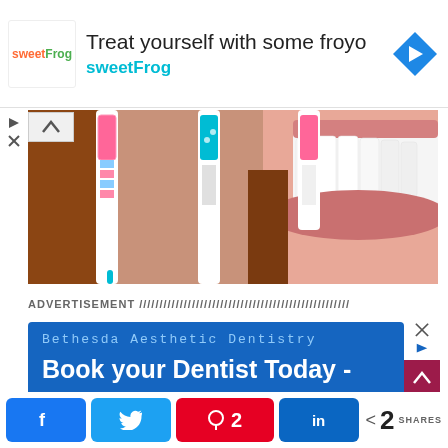[Figure (screenshot): SweetFrog advertisement banner with logo and text 'Treat yourself with some froyo sweetFrog' and a navigation icon]
[Figure (photo): Close-up photo of three toothbrushes (pink, white, pink) held up against a smiling woman with white teeth and brown hair]
ADVERTISEMENT ////////////////////////////////////////////////////
[Figure (screenshot): Bethesda Aesthetic Dentistry ad on blue background: 'Book your Dentist Today -']
[Figure (infographic): Social share bar with Facebook, Twitter, Pinterest (2), LinkedIn buttons and share count of 2]